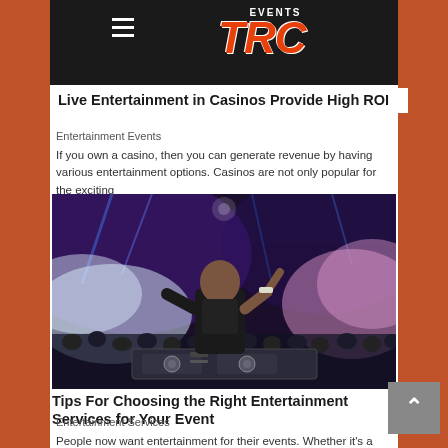TRC EVENTS
Live Entertainment in Casinos Provide High ROI
Entertainment Events
If you own a casino, then you can generate revenue by having various entertainment options. Casinos are not only popular for the exciting
[Figure (photo): DJ performing at a casino nightclub event with colorful smoke, crowd, and lighting effects]
Tips For Choosing the Right Entertainment Services for Your Event
Entertainment Services
People now want entertainment for their events. Whether it's a wedding, birthday party, or corporate party, entertainment is an integral part of